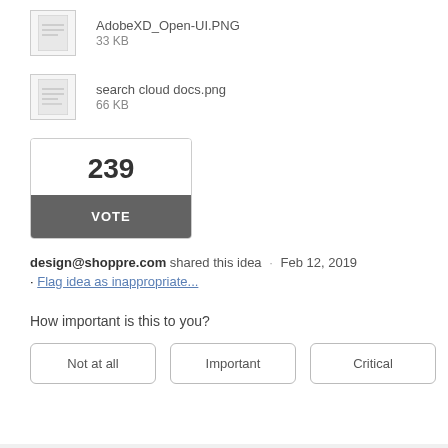[Figure (other): File thumbnail for AdobeXD_Open-UI.PNG, 33 KB]
AdobeXD_Open-UI.PNG
33 KB
[Figure (other): File thumbnail for search cloud docs.png, 66 KB]
search cloud docs.png
66 KB
239
VOTE
design@shoppre.com shared this idea · Feb 12, 2019
· Flag idea as inappropriate...
How important is this to you?
Not at all   Important   Critical